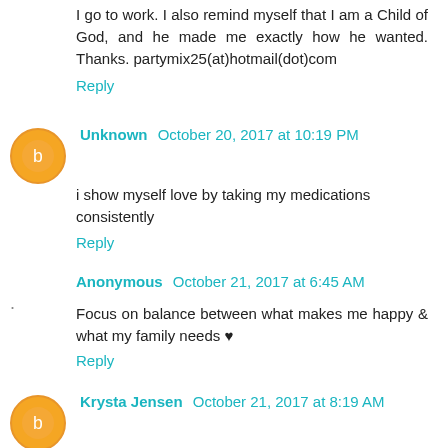I go to work. I also remind myself that I am a Child of God, and he made me exactly how he wanted. Thanks. partymix25(at)hotmail(dot)com
Reply
Unknown  October 20, 2017 at 10:19 PM
i show myself love by taking my medications consistently
Reply
Anonymous  October 21, 2017 at 6:45 AM
Focus on balance between what makes me happy & what my family needs ♥
Reply
Krysta Jensen  October 21, 2017 at 8:19 AM
My morning runs with my puppy because it gets my mind right before my family is up for the day!!